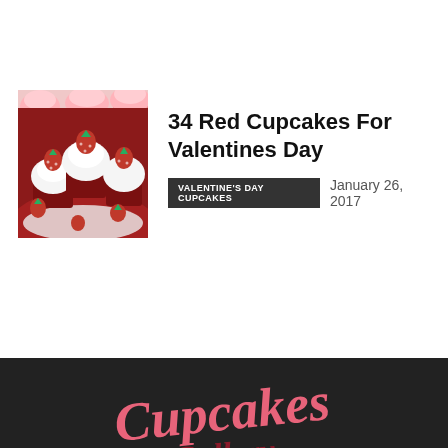[Figure (photo): Partial view of pink cupcakes at top of page]
[Figure (photo): Red velvet cupcakes with white cream filling and strawberries on top]
34 Red Cupcakes For Valentines Day
VALENTINE'S DAY CUPCAKES   January 26, 2017
[Figure (logo): Cupcakes Gallery script logo in pink on dark background]
ABOUT US